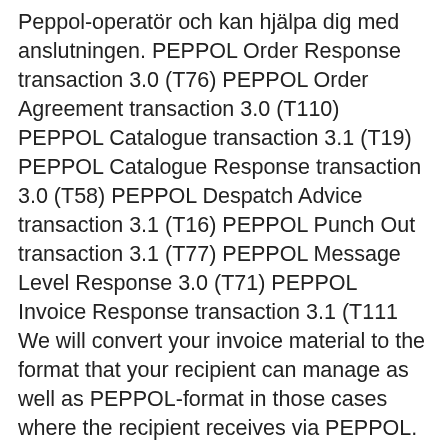Peppol-operatör och kan hjälpa dig med anslutningen. PEPPOL Order Response transaction 3.0 (T76) PEPPOL Order Agreement transaction 3.0 (T110) PEPPOL Catalogue transaction 3.1 (T19) PEPPOL Catalogue Response transaction 3.0 (T58) PEPPOL Despatch Advice transaction 3.1 (T16) PEPPOL Punch Out transaction 3.1 (T77) PEPPOL Message Level Response 3.0 (T71) PEPPOL Invoice Response transaction 3.1 (T111 We will convert your invoice material to the format that your recipient can manage as well as PEPPOL-format in those cases where the recipient receives via PEPPOL. In some cases, minor adjustments may be required in the invoice material to be interpreted according to the invoice requirements for PEPPOL.
Magnus svensson bil skillingaryd